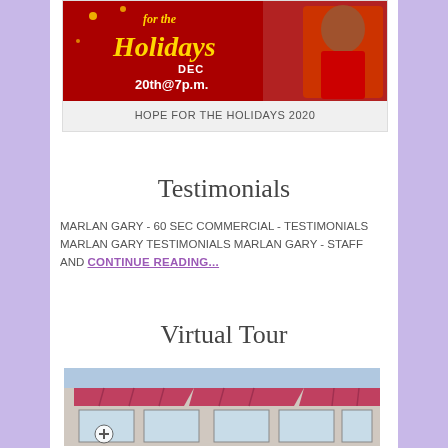[Figure (photo): Holiday event promotional image with red background, gold script text 'for the Holidays', DEC 20th@7p.m., man in red jacket]
HOPE FOR THE HOLIDAYS 2020
Testimonials
MARLAN GARY - 60 SEC COMMERCIAL - TESTIMONIALS MARLAN GARY TESTIMONIALS MARLAN GARY - STAFF AND CONTINUE READING...
Virtual Tour
[Figure (photo): Storefront photo showing a building with pink/red awnings, a plus/zoom icon visible in lower left]